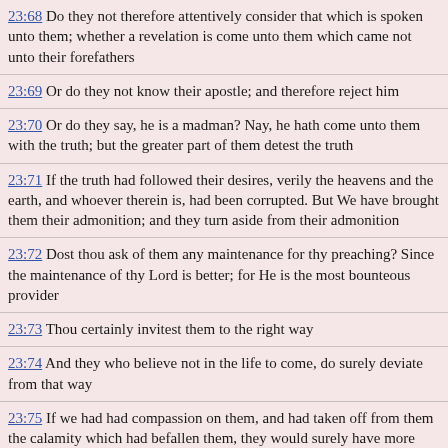23:68  Do they not therefore attentively consider that which is spoken unto them; whether a revelation is come unto them which came not unto their forefathers
23:69  Or do they not know their apostle; and therefore reject him
23:70  Or do they say, he is a madman? Nay, he hath come unto them with the truth; but the greater part of them detest the truth
23:71  If the truth had followed their desires, verily the heavens and the earth, and whoever therein is, had been corrupted. But We have brought them their admonition; and they turn aside from their admonition
23:72  Dost thou ask of them any maintenance for thy preaching? Since the maintenance of thy Lord is better; for He is the most bounteous provider
23:73  Thou certainly invitest them to the right way
23:74  And they who believe not in the life to come, do surely deviate from that way
23:75  If we had had compassion on them, and had taken off from them the calamity which had befallen them, they would surely have more obstinately persisted in their error, wandering in confusion